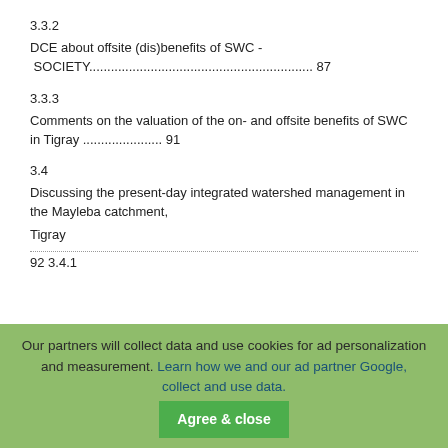3.3.2
DCE about offsite (dis)benefits of SWC - SOCIETY................................................................ 87
3.3.3
Comments on the valuation of the on- and offsite benefits of SWC in Tigray ...................... 91
3.4
Discussing the present-day integrated watershed management in the Mayleba catchment, Tigray
........................................................................................................................................ 92 3.4.1
Our partners will collect data and use cookies for ad personalization and measurement. Learn how we and our ad partner Google, collect and use data.
Agree & close